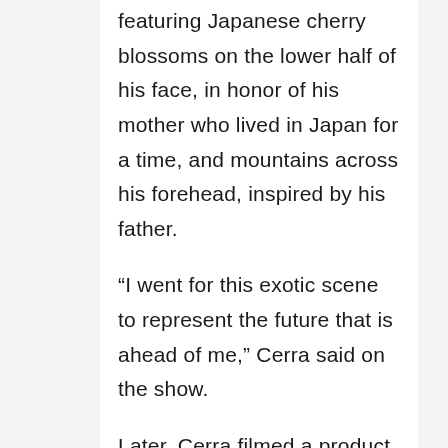featuring Japanese cherry blossoms on the lower half of his face, in honor of his mother who lived in Japan for a time, and mountains across his forehead, inspired by his father.
“I went for this exotic scene to represent the future that is ahead of me,” Cerra said on the show.
Later, Cerra filmed a product reveal video that was reviewed by